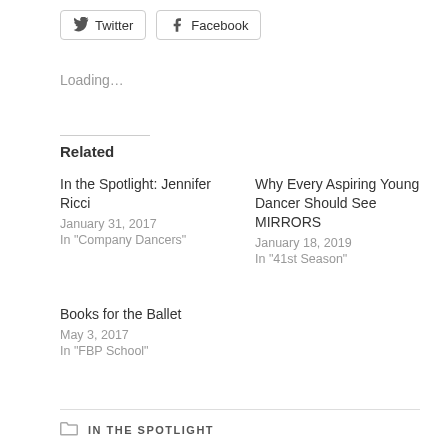[Figure (other): Twitter and Facebook share buttons]
Loading...
Related
In the Spotlight: Jennifer Ricci
January 31, 2017
In "Company Dancers"
Why Every Aspiring Young Dancer Should See MIRRORS
January 18, 2019
In "41st Season"
Books for the Ballet
May 3, 2017
In "FBP School"
IN THE SPOTLIGHT